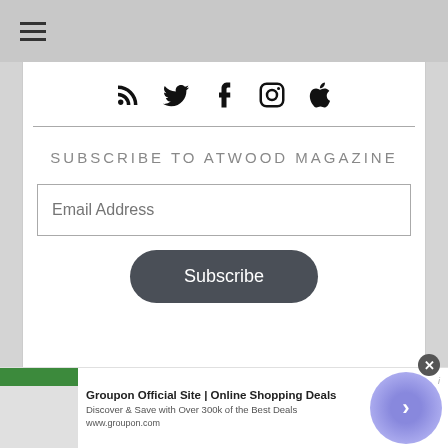[Figure (other): Social media icons row: RSS feed, Twitter, Facebook, Instagram, Apple]
SUBSCRIBE TO ATWOOD MAGAZINE
Email Address (input field)
Subscribe (button)
[Figure (other): Advertisement banner: Groupon Official Site | Online Shopping Deals. Discover & Save with Over 300k of the Best Deals. www.groupon.com]